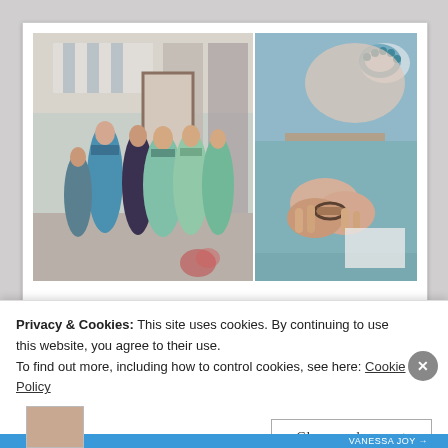[Figure (photo): Two wedding preparation photos side by side: left photo shows bridesmaids in mint/teal dresses gathered together in a hotel room with striped curtains; right photo shows a close-up of hands holding/helping with bracelet or jewelry, wearing teal dresses.]
[Figure (logo): Vanessa Joy photography logo in italic script font with decorative floral/scroll elements on either side in pink]
Privacy & Cookies: This site uses cookies. By continuing to use this website, you agree to their use.
To find out more, including how to control cookies, see here: Cookie Policy
Close and accept